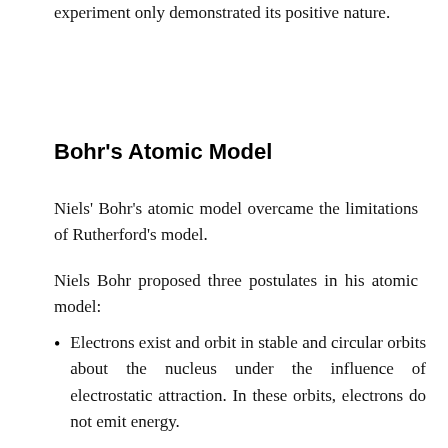experiment only demonstrated its positive nature.
Bohr's Atomic Model
Niels' Bohr's atomic model overcame the limitations of Rutherford's model.
Niels Bohr proposed three postulates in his atomic model:
Electrons exist and orbit in stable and circular orbits about the nucleus under the influence of electrostatic attraction. In these orbits, electrons do not emit energy.